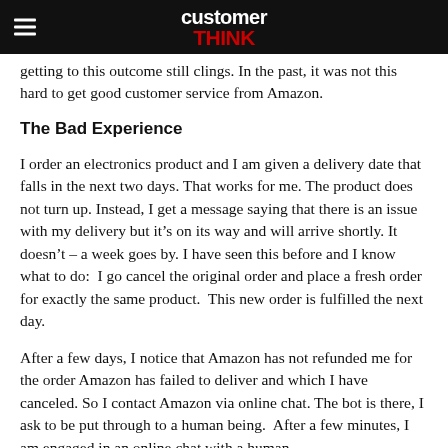customer THINK
getting to this outcome still clings.  In the past, it was not this hard to get good customer service from Amazon.
The Bad Experience
I order an electronics product and I am given a delivery date that falls in the next two days. That works for me. The product does not turn up. Instead, I get a message saying that there is an issue with my delivery but it’s on its way and will arrive shortly. It doesn’t – a week goes by. I have seen this before and I know what to do:  I go cancel the original order and place a fresh order for exactly the same product.  This new order is fulfilled the next day.
After a few days, I notice that Amazon has not refunded me for the order Amazon has failed to deliver and which I have canceled. So I contact Amazon via online chat. The bot is there, I ask to be put through to a human being.  After a few minutes, I am engaged in an online chat with a human